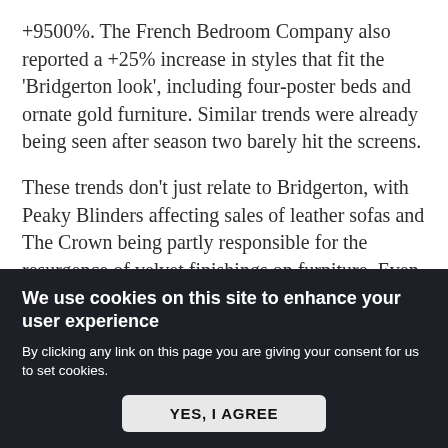+9500%. The French Bedroom Company also reported a +25% increase in styles that fit the 'Bridgerton look', including four-poster beds and ornate gold furniture. Similar trends were already being seen after season two barely hit the screens.
These trends don't just relate to Bridgerton, with Peaky Blinders affecting sales of leather sofas and The Crown being partly responsible for the resurgence of velvet finishings on furniture. Even Squid Game was praised across interiors and architecture for its aesthetic design, becoming an inspiration
We use cookies on this site to enhance your user experience
By clicking any link on this page you are giving your consent for us to set cookies.
YES, I AGREE